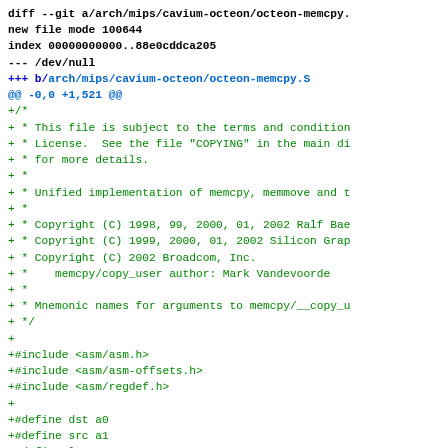diff --git a/arch/mips/cavium-octeon/octeon-memcpy.
new file mode 100644
index 00000000000..88e0cddca205
--- /dev/null
+++ b/arch/mips/cavium-octeon/octeon-memcpy.S
@@ -0,0 +1,521 @@
+/*
+ * This file is subject to the terms and condition
+ * License.  See the file "COPYING" in the main di
+ * for more details.
+ *
+ * Unified implementation of memcpy, memmove and t
+ *
+ * Copyright (C) 1998, 99, 2000, 01, 2002 Ralf Bae
+ * Copyright (C) 1999, 2000, 01, 2002 Silicon Grap
+ * Copyright (C) 2002 Broadcom, Inc.
+ *    memcpy/copy_user author: Mark Vandevoorde
+ *
+ * Mnemonic names for arguments to memcpy/__copy_u
+ */
+
+#include <asm/asm.h>
+#include <asm/asm-offsets.h>
+#include <asm/regdef.h>
+
+#define dst a0
+#define src a1
+#define len a2
+
+/*